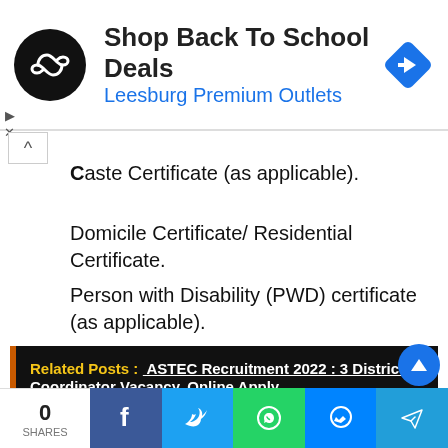[Figure (screenshot): Advertisement banner for Leesburg Premium Outlets - Shop Back To School Deals, with circular black logo with infinity symbol and blue navigation arrow icon]
Caste Certificate (as applicable).
Domicile Certificate/ Residential Certificate.
Person with Disability (PWD) certificate (as applicable).
Related Posts :  ASTEC Recruitment 2022 : 3 District Coordinator Vacancy, Online Apply
[Figure (screenshot): Social media share bar with share count 0, Facebook, Twitter, WhatsApp, Messenger, and Telegram buttons]